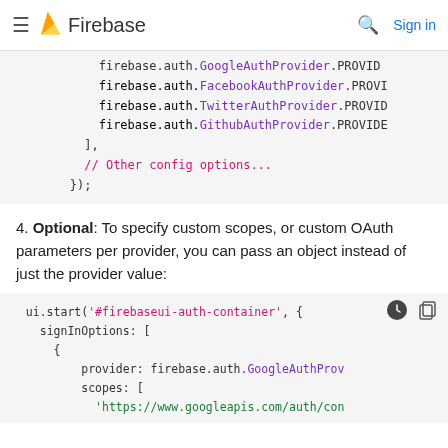Firebase
[Figure (screenshot): Code block showing Firebase auth provider lines: firebase.auth.GoogleAuthProvider.PROVI, firebase.auth.FacebookAuthProvider.PROVI, firebase.auth.TwitterAuthProvider.PROVID, firebase.auth.GithubAuthProvider.PROVIDE, ], // Other config options..., });]
4. Optional: To specify custom scopes, or custom OAuth parameters per provider, you can pass an object instead of just the provider value:
[Figure (screenshot): Code block showing: ui.start('#firebaseui-auth-container', { signInOptions: [ { provider: firebase.auth.GoogleAuthProv scopes: [ 'https://www.googleapis.com/auth/con]